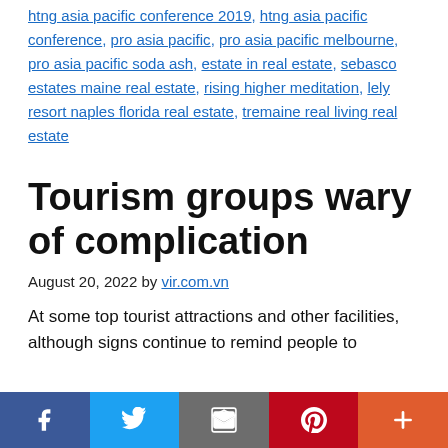..., estate planning for retirement, htng asia pacific conference 2019, htng asia pacific conference, pro asia pacific, pro asia pacific melbourne, pro asia pacific soda ash, estate in real estate, sebasco estates maine real estate, rising higher meditation, lely resort naples florida real estate, tremaine real living real estate
Tourism groups wary of complication
August 20, 2022 by vir.com.vn
At some top tourist attractions and other facilities, although signs continue to remind people to...